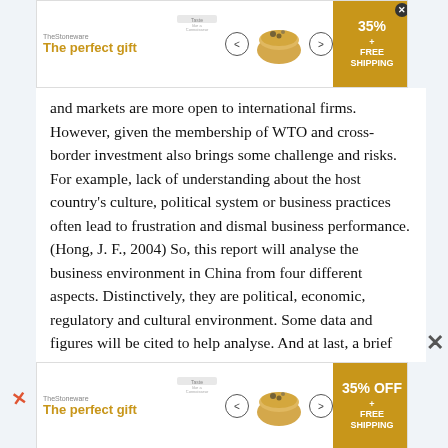[Figure (other): Advertisement banner at top: 'The perfect gift' with bowl imagery, navigation arrows, and '35% OFF + FREE SHIPPING' badge]
and markets are more open to international firms. However, given the membership of WTO and cross-border investment also brings some challenge and risks. For example, lack of understanding about the host country's culture, political system or business practices often lead to frustration and dismal business performance. (Hong, J. F., 2004) So, this report will analyse the business environment in China from four different aspects. Distinctively, they are political, economic, regulatory and cultural environment. Some data and figures will be cited to help analyse. And at last, a brief conclusion and review will provide. 2. Political environment China, officially the People's Republic of China, has established on first of October, 1949 when Chairperson Mao......
[Figure (other): Advertisement banner at bottom: 'The perfect gift' with bowl imagery, navigation arrows, and '35% OFF + FREE SHIPPING' badge]